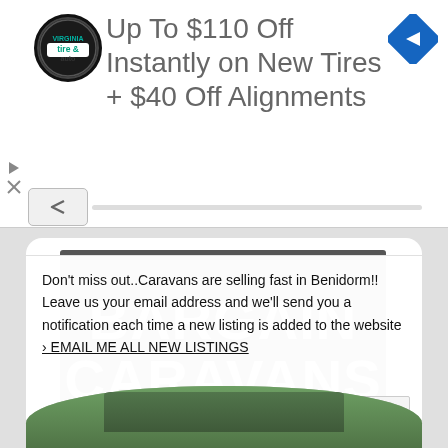[Figure (advertisement): Virginia Tire & Auto ad banner: circular logo with 'tire & auto' text, ad reading 'Up To $110 Off Instantly on New Tires + $40 Off Alignments', blue navigation diamond icon on right]
[Figure (screenshot): Bargain Caravans website popup: dark gray sign with 'BARGAIN CARAVANS' in white bold text, popup overlay with text about email notifications and 'No thanks' button, bottom photo of caravans/vehicles with trees]
Don't miss out..Caravans are selling fast in Benidorm!! Leave us your email address and we'll send you a notification each time a new listing is added to the website › EMAIL ME ALL NEW LISTINGS
No thanks